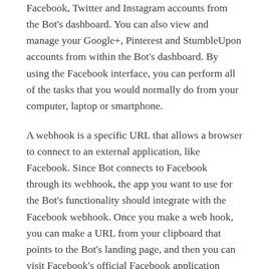Facebook, Twitter and Instagram accounts from the Bot's dashboard. You can also view and manage your Google+, Pinterest and StumbleUpon accounts from within the Bot's dashboard. By using the Facebook interface, you can perform all of the tasks that you would normally do from your computer, laptop or smartphone.
A webhook is a specific URL that allows a browser to connect to an external application, like Facebook. Since Bot connects to Facebook through its webhook, the app you want to use for the Bot's functionality should integrate with the Facebook webhook. Once you make a web hook, you can make a URL from your clipboard that points to the Bot's landing page, and then you can visit Facebook's official Facebook application from anywhere by going to the Bot's website and clicking the “Get link” button. There are a few steps that go along with this process, and at some places, the